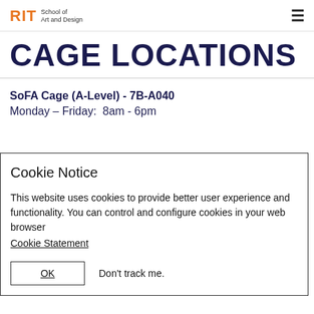RIT | School of Art and Design
CAGE LOCATIONS
SoFA Cage (A-Level) - 7B-A040
Monday – Friday:  8am - 6pm
Cookie Notice
This website uses cookies to provide better user experience and functionality. You can control and configure cookies in your web browser Cookie Statement
OK    Don't track me.